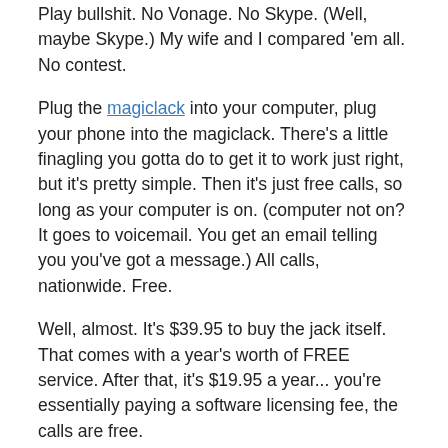Play bullshit. No Vonage. No Skype. (Well, maybe Skype.) My wife and I compared 'em all. No contest.
Plug the magiclack into your computer, plug your phone into the magiclack. There's a little finagling you gotta do to get it to work just right, but it's pretty simple. Then it's just free calls, so long as your computer is on. (computer not on? It goes to voicemail. You get an email telling you you've got a message.) All calls, nationwide. Free.
Well, almost. It's $39.95 to buy the jack itself. That comes with a year's worth of FREE service. After that, it's $19.95 a year... you're essentially paying a software licensing fee, the calls are free.
That's for phone service, directory assistance, voicemail, call waiting, caller ID. The works.
And the sound quality is comparable to any landline.